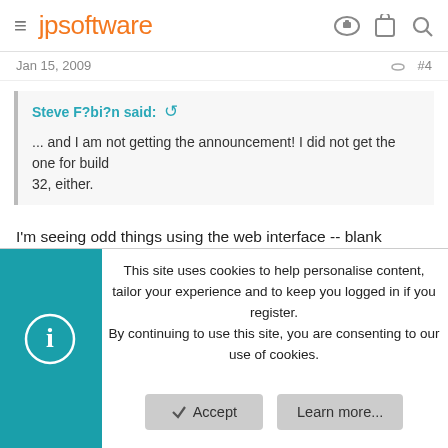jpsoftware
Jan 15, 2009   #4
Steve F?bi?n said: ↺

... and I am not getting the announcement! I did not get the one for build
32, either.
I'm seeing odd things using the web interface -- blank pages, "database error" pages, timeouts. I think the forum may be a little wibbly.
This site uses cookies to help personalise content, tailor your experience and to keep you logged in if you register.
By continuing to use this site, you are consenting to our use of cookies.